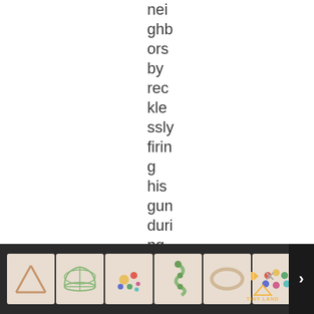nei ghb ors by rec kle ssly firin g his gun duri ng a raid
[Figure (illustration): Advertisement banner at the bottom showing toy product thumbnails from Tiny Land brand, with a navigation arrow on the right side.]